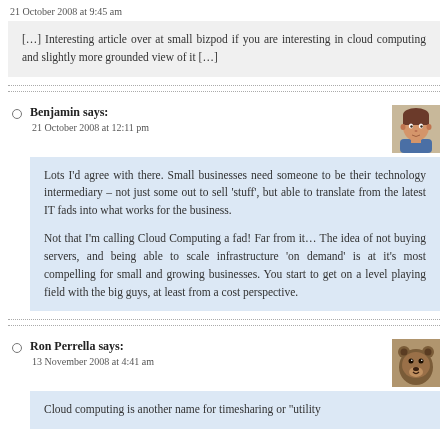21 October 2008 at 9:45 am
[…] Interesting article over at small bizpod if you are interesting in cloud computing and slightly more grounded view of it […]
Benjamin says:
21 October 2008 at 12:11 pm
Lots I'd agree with there. Small businesses need someone to be their technology intermediary – not just some out to sell 'stuff', but able to translate from the latest IT fads into what works for the business.

Not that I'm calling Cloud Computing a fad! Far from it… The idea of not buying servers, and being able to scale infrastructure 'on demand' is at it's most compelling for small and growing businesses. You start to get on a level playing field with the big guys, at least from a cost perspective.
Ron Perrella says:
13 November 2008 at 4:41 am
Cloud computing is another name for timesharing or "utility